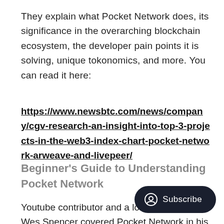They explain what Pocket Network does, its significance in the overarching blockchain ecosystem, the developer pain points it is solving, unique tokonomics, and more. You can read it here:
https://www.newsbtc.com/news/company/cgv-research-an-insight-into-top-3-projects-in-the-web3-index-chart-pocket-network-arweave-and-livepeer/
Beginner's Guide to Understanding Pocket Network
Youtube contributor and a long t… Wes Spencer covered Pocket Network in his latest